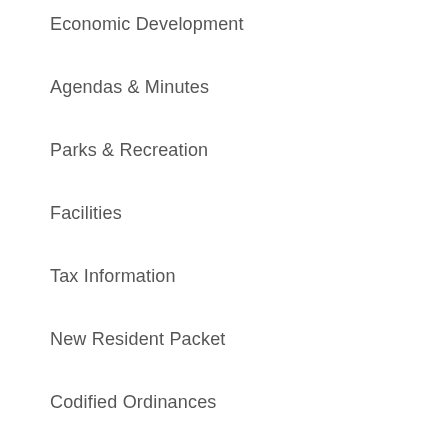Economic Development
Agendas & Minutes
Parks & Recreation
Facilities
Tax Information
New Resident Packet
Codified Ordinances